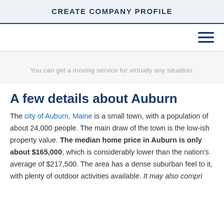CREATE COMPANY PROFILE
[Figure (other): Hamburger menu icon (three horizontal lines) in dark navy blue, top-right navigation]
You can get a moving service for virtually any situation.
A few details about Auburn
The city of Auburn, Maine is a small town, with a population of about 24,000 people. The main draw of the town is the low-ish property value. The median home price in Auburn is only about $165,000, which is considerably lower than the nation's average of $217,500. The area has a dense suburban feel to it, with plenty of outdoor activities available. It may also comprise